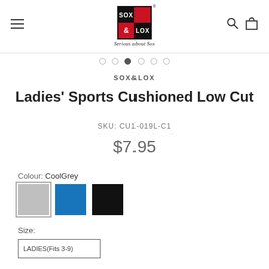[Figure (logo): SOX&LOX logo with tagline 'Serious about Sox']
SOX&LOX
Ladies' Sports Cushioned Low Cut
SKU: CU1-019L-C1
$7.95
Colour: CoolGrey
[Figure (illustration): Three colour swatches: CoolGrey (selected), Blue, Black]
Size:
LADIES(Fits 3-9)